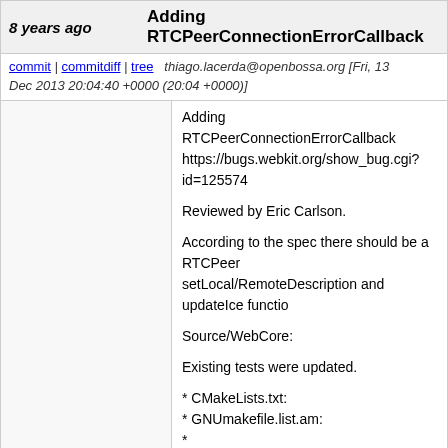8 years ago   Adding RTCPeerConnectionErrorCallback
commit | commitdiff | tree   thiago.lacerda@openbossa.org [Fri, 13 Dec 2013 20:04:40 +0000 (20:04 +0000)]
Adding RTCPeerConnectionErrorCallback
https://bugs.webkit.org/show_bug.cgi?id=125574

Reviewed by Eric Carlson.

According to the spec there should be a RTCPeer setLocal/RemoteDescription and updateIce functio

Source/WebCore:

Existing tests were updated.

* CMakeLists.txt:
* GNUmakefile.list.am:
* Modules/mediastream/RTCPeerConnection.cpp:
(WebCore::RTCPeerConnection::createOffer):
(WebCore::RTCPeerConnection::createAnswer):
(WebCore::RTCPeerConnection::setLocalDescript
(WebCore::RTCPeerConnection::setRemoteDesc
(WebCore::RTCPeerConnection::addIceCandidate
* Modules/mediastream/RTCErrorCallback.h: Rem
* Modules/mediastream/RTCErrorCallback.idl: Re
* Modules/mediastream/RTCPeerConnection.h:
* Modules/mediastream/RTCPeerConnection.idl: